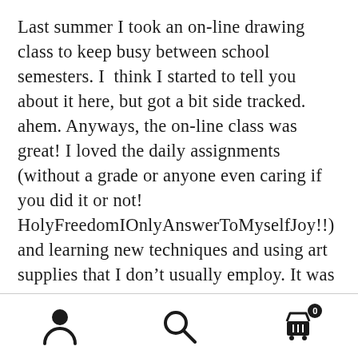Last summer I took an on-line drawing class to keep busy between school semesters. I  think I started to tell you about it here, but got a bit side tracked. ahem. Anyways, the on-line class was great! I loved the daily assignments (without a grade or anyone even caring if you did it or not! HolyFreedomIOnlyAnswerToMyselfJoy!!) and learning new techniques and using art supplies that I don't usually employ. It was fun and I rediscovered the joy of sketching. A thin-tipped pen for scratching lines is my favorite and my best! You can see all my drawings and doodles in this flickr set here. fun! I knew at some point I
[Figure (other): Bottom navigation bar with three icons: user/person icon on the left, search/magnifying glass icon in the center, and a shopping cart icon with badge showing '0' on the right]